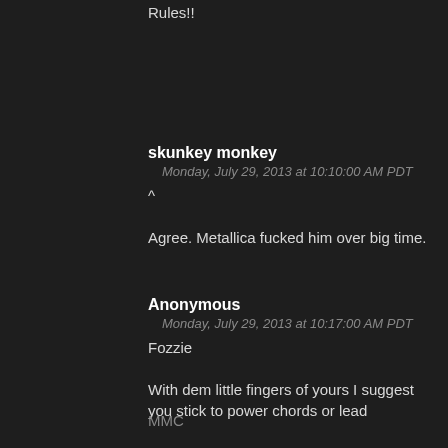Rules!!
skunkey monkey
Monday, July 29, 2013 at 10:10:00 AM PDT
^

Agree. Metallica fucked him over big time.
Anonymous
Monday, July 29, 2013 at 10:17:00 AM PDT
Fozzie

With dem little fingers of yours I suggest you stick to power chords or lead
MMC